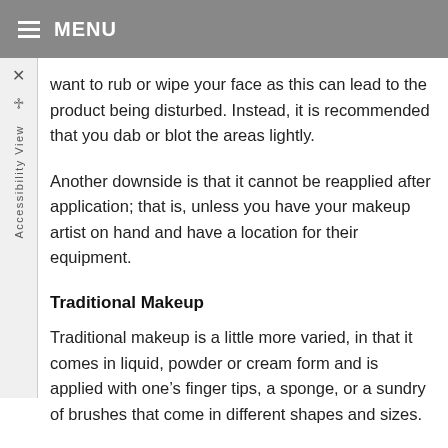MENU
want to rub or wipe your face as this can lead to the product being disturbed. Instead, it is recommended that you dab or blot the areas lightly.
Another downside is that it cannot be reapplied after application; that is, unless you have your makeup artist on hand and have a location for their equipment.
Traditional Makeup
Traditional makeup is a little more varied, in that it comes in liquid, powder or cream form and is applied with one’s finger tips, a sponge, or a sundry of brushes that come in different shapes and sizes. Because traditional makeup also has a wide...